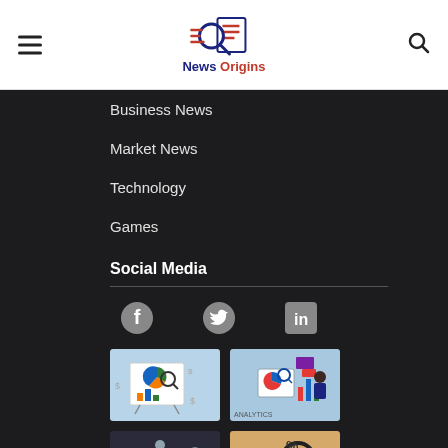News Origins
Business News
Market News
Technology
Games
Social Media
[Figure (other): Social media icons: Facebook, Twitter, LinkedIn]
[Figure (other): Four thumbnail images of business/data analytics illustrations]